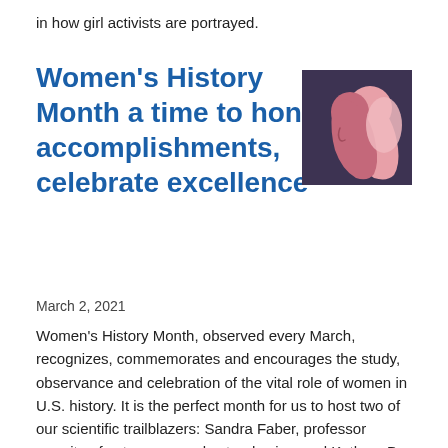in how girl activists are portrayed.
Women's History Month a time to honor accomplishments, celebrate excellence
[Figure (illustration): Stylized illustration of two women's silhouette profiles in pink and mauve tones against a dark navy square background]
March 2, 2021
Women's History Month, observed every March, recognizes, commemorates and encourages the study, observance and celebration of the vital role of women in U.S. history. It is the perfect month for us to host two of our scientific trailblazers: Sandra Faber, professor emerita of astronomy and astrophysics, and Kathryn D. Sullivan, a UC Santa Cruz alumna who after graduating in 1973 went on to become the first person to both orbit the planet and reach its